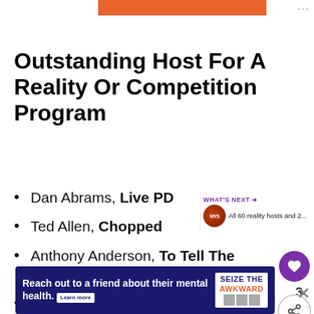Outstanding Host For A Reality Or Competition Program
Dan Abrams, Live PD
Ted Allen, Chopped
Anthony Anderson, To Tell The Truth
Erin Andrews, Dancing With The Stars